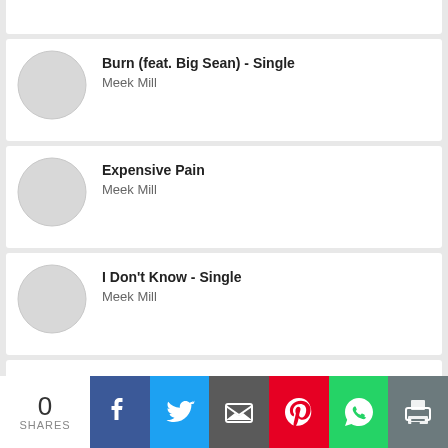Burn (feat. Big Sean) - Single — Meek Mill
Expensive Pain — Meek Mill
I Don't Know - Single — Meek Mill
Legends of the Summer - EP
0 SHARES